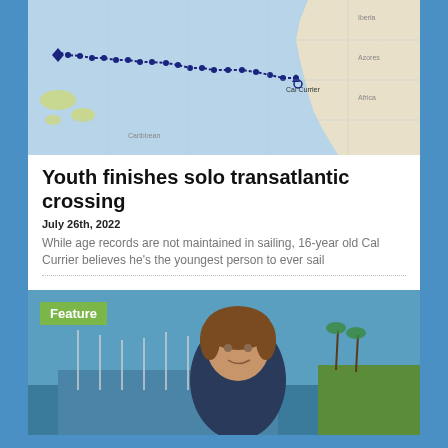[Figure (map): Map showing transatlantic sailing route from Europe (near Morocco/Spain) westward to the Caribbean, marked with dotted blue line and circular waypoints.]
Youth finishes solo transatlantic crossing
July 26th, 2022
While age records are not maintained in sailing, 16-year old Cal Currier believes he’s the youngest person to ever sail
[Figure (photo): Feature photo of Cal Currier, a young person with wavy hair, smiling, with a marina and sailboats visible in the background under a blue sky.]